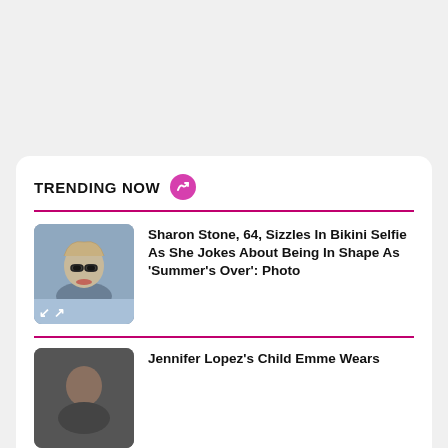TRENDING NOW
Sharon Stone, 64, Sizzles In Bikini Selfie As She Jokes About Being In Shape As 'Summer’s Over': Photo
[Figure (photo): Thumbnail photo of Sharon Stone wearing sunglasses]
Jennifer Lopez’s Child Emme Wears